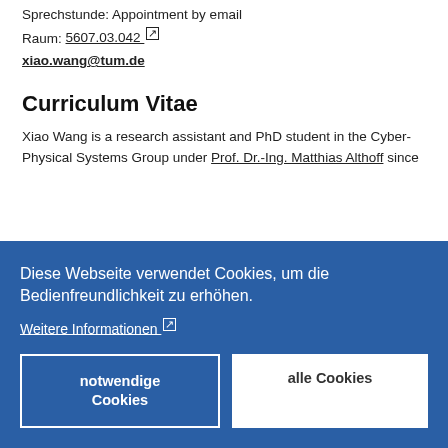Sprechstunde: Appointment by email
Raum: 5607.03.042
xiao.wang@tum.de
Curriculum Vitae
Xiao Wang is a research assistant and PhD student in the Cyber-Physical Systems Group under Prof. Dr.-Ing. Matthias Althoff since
Diese Webseite verwendet Cookies, um die Bedienfreundlichkeit zu erhöhen.
Weitere Informationen
notwendige Cookies
alle Cookies